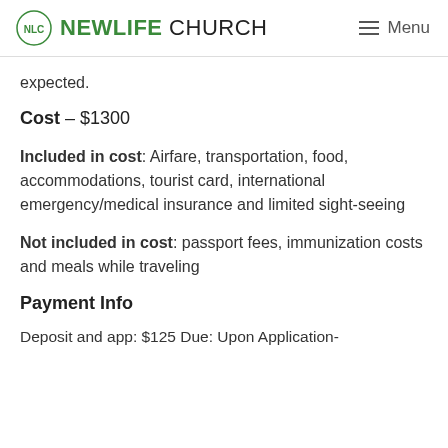NLC NEWLIFE CHURCH  Menu
expected.
Cost – $1300
Included in cost: Airfare, transportation, food, accommodations, tourist card, international emergency/medical insurance and limited sight-seeing
Not included in cost: passport fees, immunization costs and meals while traveling
Payment Info
Deposit and app:  $125 Due: Upon Application-